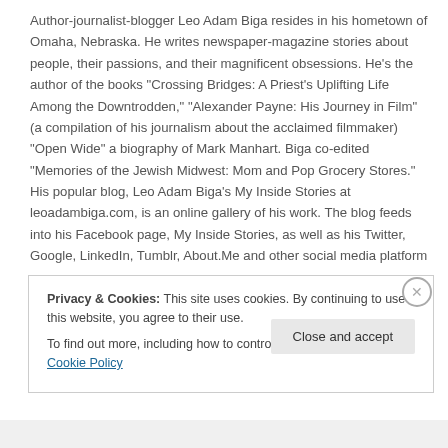Author-journalist-blogger Leo Adam Biga resides in his hometown of Omaha, Nebraska. He writes newspaper-magazine stories about people, their passions, and their magnificent obsessions. He's the author of the books "Crossing Bridges: A Priest's Uplifting Life Among the Downtrodden," "Alexander Payne: His Journey in Film" (a compilation of his journalism about the acclaimed filmmaker) "Open Wide" a biography of Mark Manhart. Biga co-edited "Memories of the Jewish Midwest: Mom and Pop Grocery Stores." His popular blog, Leo Adam Biga's My Inside Stories at leoadambiga.com, is an online gallery of his work. The blog feeds into his Facebook page, My Inside Stories, as well as his Twitter, Google, LinkedIn, Tumblr, About.Me and other social media platform pages.
Privacy & Cookies: This site uses cookies. By continuing to use this website, you agree to their use.
To find out more, including how to control cookies, see here: Cookie Policy